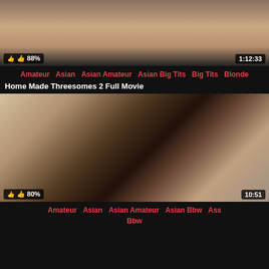[Figure (screenshot): Video thumbnail showing an intimate scene, with like badge showing 88% and duration 1:12:33]
Amateur  Asian  Asian Amateur  Asian Big Tits  Big Tits  Blonde
Home Made Threesomes 2 Full Movie
[Figure (screenshot): Video thumbnail showing a woman from behind in a room, with like badge showing 80% and duration 10:51]
Amateur  Asian  Asian Amateur  Asian Bbw  Ass  Bbw